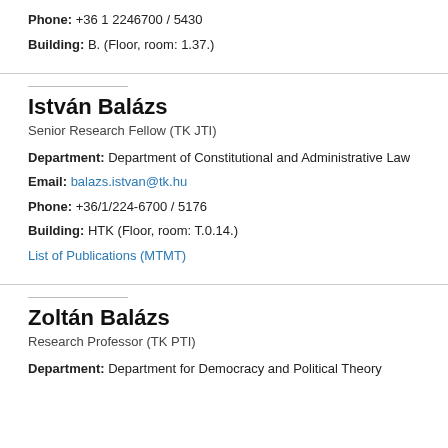Phone: +36 1 2246700 / 5430
Building: B. (Floor, room: 1.37.)
István Balázs
Senior Research Fellow (TK JTI)
Department: Department of Constitutional and Administrative Law
Email: balazs.istvan@tk.hu
Phone: +36/1/224-6700 / 5176
Building: HTK (Floor, room: T.0.14.)
List of Publications (MTMT)
Zoltán Balázs
Research Professor (TK PTI)
Department: Department for Democracy and Political Theory